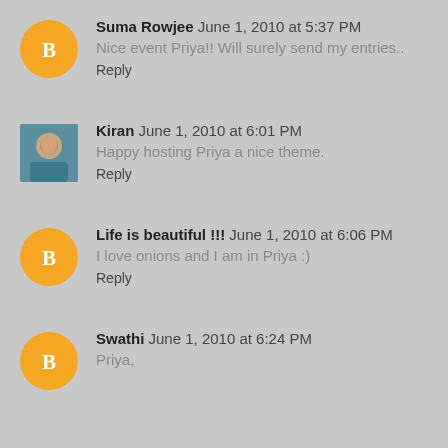Suma Rowjee  June 1, 2010 at 5:37 PM
Nice event Priya!! Will surely send my entries..
Reply
Kiran  June 1, 2010 at 6:01 PM
Happy hosting Priya a nice theme.
Reply
Life is beautiful !!!  June 1, 2010 at 6:06 PM
I love onions and I am in Priya :)
Reply
Swathi  June 1, 2010 at 6:24 PM
Priya,